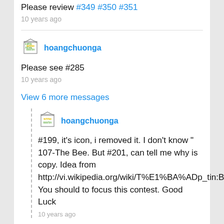Please review #349 #350 #351
10 years ago
[Figure (logo): hoangchuonga user avatar logo (stylized building with letters, green and yellow)]
hoangchuonga
Please see #285
10 years ago
View 6 more messages
[Figure (logo): hoangchuonga user avatar logo (stylized building with letters, green and yellow)]
hoangchuonga
#199, it's icon, i removed it. I don't know " 107-The Bee. But #201, can tell me why is copy. Idea from http://vi.wikipedia.org/wiki/T%E1%BA%ADp_tin:BeeLine_logo.png.
You should to focus this contest. Good Luck
10 years ago